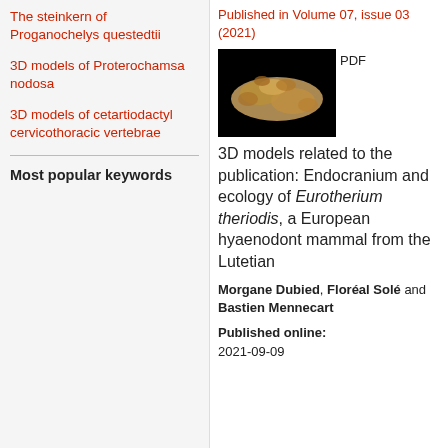The steinkern of Proganochelys questedtii
3D models of Proterochamsa nodosa
3D models of cetartiodactyl cervicothoracic vertebrae
Most popular keywords
Published in Volume 07, issue 03 (2021)
[Figure (photo): 3D scan/model of a fossil specimen of Eurotherium theriodis on black background]
PDF
3D models related to the publication: Endocranium and ecology of Eurotherium theriodis, a European hyaenodont mammal from the Lutetian
Morgane Dubied, Floréal Solé and Bastien Mennecart
Published online: 2021-09-09